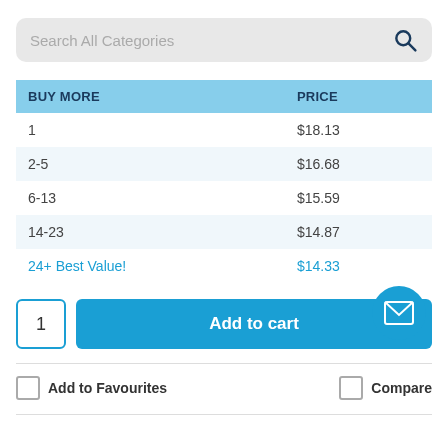Search All Categories
| BUY MORE | PRICE |
| --- | --- |
| 1 | $18.13 |
| 2-5 | $16.68 |
| 6-13 | $15.59 |
| 14-23 | $14.87 |
| 24+ Best Value! | $14.33 |
1
Add to cart
Add to Favourites
Compare